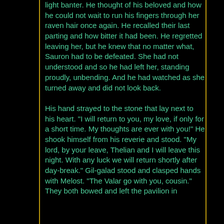light banter. He thought of his beloved and how he could not wait to run his fingers through her raven hair once again. He recalled their last parting and how bitter it had been. He regretted leaving her, but he knew that no matter what, Sauron had to be defeated. She had not understood and so he had left her, standing proudly, unbending. And he had watched as she turned away and did not look back.

His hand strayed to the stone that lay next to his heart. "I will return to you, my love, if only for a short time. My thoughts are ever with you!" He shook himself from his reverie and stood. "My lord, by your leave, Thelian and I will leave this night. With any luck we will return shortly after day-break." Gil-galad stood and clasped hands with Melost. "The Valar go with you, cousin." They both bowed and left the pavilion in